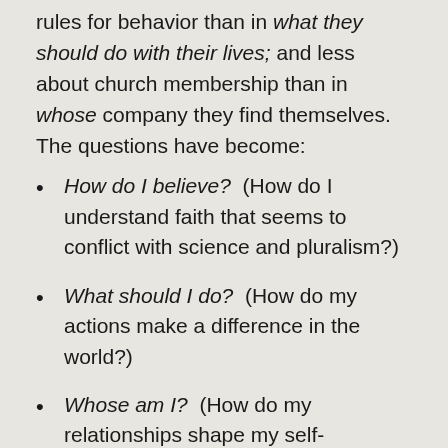rules for behavior than in what they should do with their lives; and less about church membership than in whose company they find themselves.  The questions have become:
How do I believe?  (How do I understand faith that seems to conflict with science and pluralism?)
What should I do?  (How do my actions make a difference in the world?)
Whose am I?  (How do my relationships shape my self-understanding?)"
People of St. Luke's, I hope you hear yourself in this emerging understanding of a resurrected Christianity.  I certainly see you, wise elders and